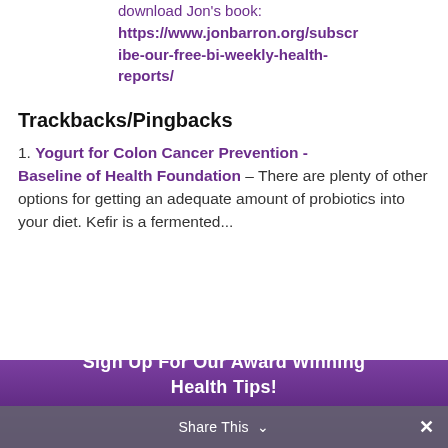download Jon's book: https://www.jonbarron.org/subscribe-our-free-bi-weekly-health-reports/
Trackbacks/Pingbacks
1. Yogurt for Colon Cancer Prevention - Baseline of Health Foundation – There are plenty of other options for getting an adequate amount of probiotics into your diet. Kefir is a fermented...
Sign Up For Our Award Winning Health Tips!
Share This